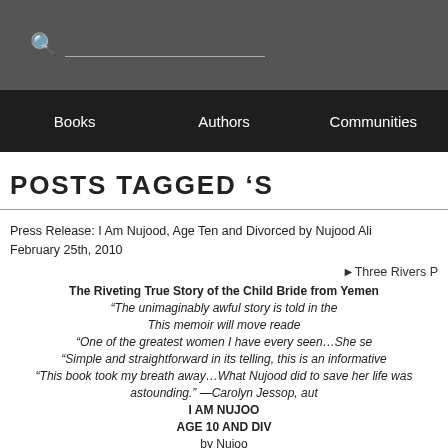[Figure (screenshot): Website search bar with gray background, search icon and input underline]
Books   Authors   Communities
POSTS TAGGED 'S
Press Release: I Am Nujood, Age Ten and Divorced by Nujood Ali
February 25th, 2010
[Figure (screenshot): Three Rivers P[ress logo/image - partially visible]]
The Riveting True Story of the Child Bride from Yemen
"The unimaginably awful story is told in the
This memoir will move reade
"One of the greatest women I have every seen...She se
"Simple and straightforward in its telling, this is an informative
"This book took my breath away...What Nujood did to save her life was
astounding." —Carolyn Jessop, aut
I AM NUJOO
AGE 10 AND DIV
by Nujoo